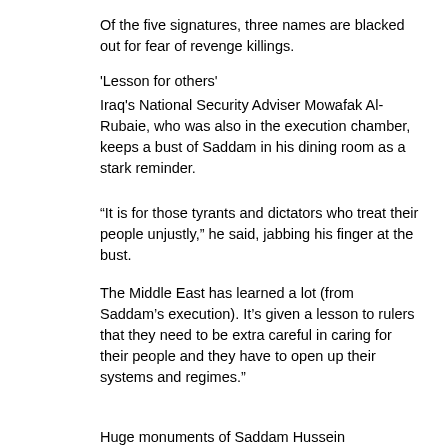Of the five signatures, three names are blacked out for fear of revenge killings.
'Lesson for others'
Iraq's National Security Adviser Mowafak Al-Rubaie, who was also in the execution chamber, keeps a bust of Saddam in his dining room as a stark reminder.
“It is for those tyrants and dictators who treat their people unjustly," he said, jabbing his finger at the bust.
The Middle East has learned a lot (from Saddam’s execution). It’s given a lesson to rulers that they need to be extra careful in caring for their people and they have to open up their systems and regimes."
Huge monuments of Saddam Hussein memorabilia still dominate Baghdad, not least in the Green Zone, his former palace complex from where Iraq is now run by the new government and kept in place by the American military.
Some statues remain in place, like a massive hand, modelled on his own, that holds a sword stretched across a former military parade ground. The other hand has been broken off